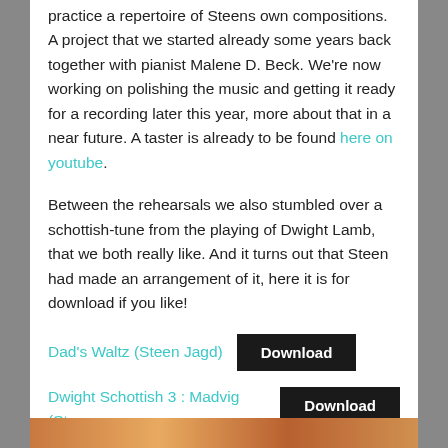practice a repertoire of Steens own compositions. A project that we started already some years back together with pianist Malene D. Beck. We're now working on polishing the music and getting it ready for a recording later this year, more about that in a near future. A taster is already to be found here on youtube.
Between the rehearsals we also stumbled over a schottish-tune from the playing of Dwight Lamb, that we both really like. And it turns out that Steen had made an arrangement of it, here it is for download if you like!
Dad's Waltz (Steen Jagd)   [Download button]
Dwight Schottish 3 : Madvig (Steen Jagd)   [Download button]
Here you can hear Steen and me play the tune in his arrangement for two fiddles 🎵
[Figure (photo): Partial view of an image at the bottom of the page, warm orange/brown tones]